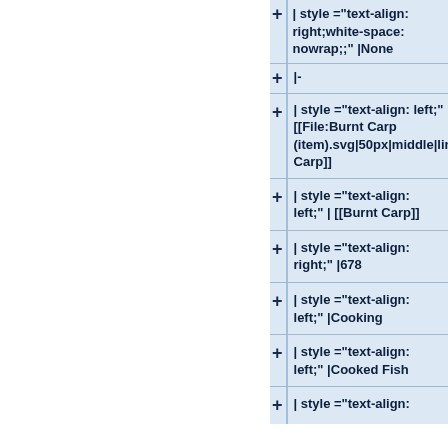| style ="text-align: right;white-space: nowrap;;" |None
|-
| style ="text-align: left;" | [[File:Burnt Carp (item).svg|50px|middle|link=Burnt Carp]]
| style ="text-align: left;" | [[Burnt Carp]]
| style ="text-align: right;" |678
| style ="text-align: left;" |Cooking
| style ="text-align: left;" |Cooked Fish
| style ="text-align: